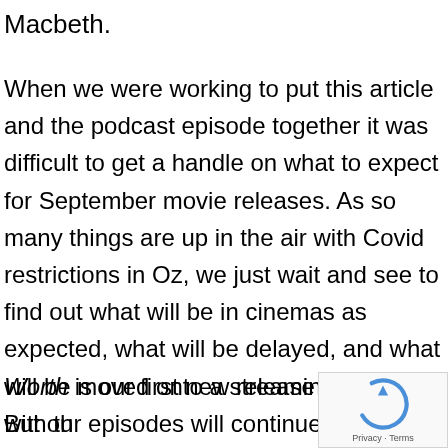Macbeth.
When we were working to put this article and the podcast episode together it was difficult to get a handle on what to expect for September movie releases. As so many things are up in the air with Covid restrictions in Oz, we just wait and see to find out what will be in cinemas as expected, what will be delayed, and what will be moved onto a streaming platform. But our episodes will continue as normal.
Worth is our first new release review with the 'Reaction Review' on the 3rd and full review
[Figure (logo): Google reCAPTCHA badge with spinning arrow logo and Privacy - Terms text]